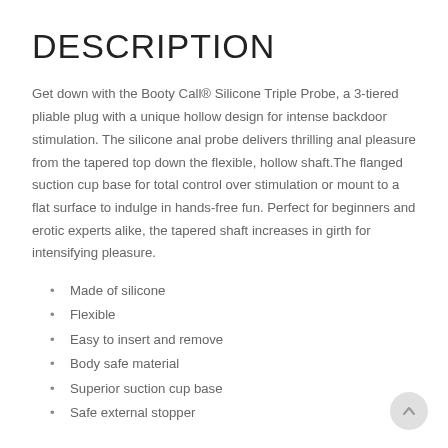DESCRIPTION
Get down with the Booty Call® Silicone Triple Probe, a 3-tiered pliable plug with a unique hollow design for intense backdoor stimulation. The silicone anal probe delivers thrilling anal pleasure from the tapered top down the flexible, hollow shaft.The flanged suction cup base for total control over stimulation or mount to a flat surface to indulge in hands-free fun. Perfect for beginners and erotic experts alike, the tapered shaft increases in girth for intensifying pleasure.
Made of silicone
Flexible
Easy to insert and remove
Body safe material
Superior suction cup base
Safe external stopper